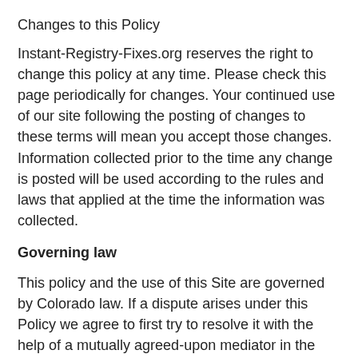Changes to this Policy
Instant-Registry-Fixes.org reserves the right to change this policy at any time. Please check this page periodically for changes. Your continued use of our site following the posting of changes to these terms will mean you accept those changes. Information collected prior to the time any change is posted will be used according to the rules and laws that applied at the time the information was collected.
Governing law
This policy and the use of this Site are governed by Colorado law. If a dispute arises under this Policy we agree to first try to resolve it with the help of a mutually agreed-upon mediator in the following location: Denver, CO USA. Any costs and fees other than attorney fees associated with the mediation will be shared equally by each of us.
If it proves impossible to arrive at a mutually satisfactory solution through mediation, we agree to submit the dispute to